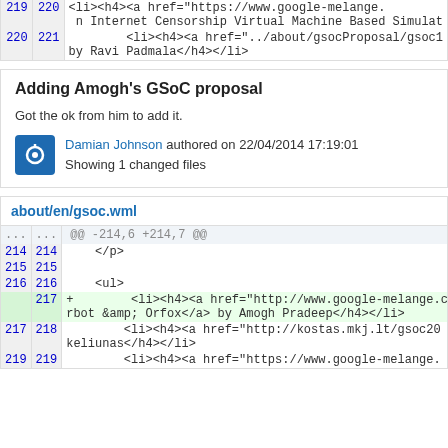| 219 | 220 | <li><h4><a href="https://www.google-melange.n Internet Censorship Virtual Machine Based Simulat |
| 220 | 221 | <li><h4><a href="../about/gsocProposal/gsoc1by Ravi Padmala</h4></li> |
Adding Amogh's GSoC proposal
Got the ok from him to add it.
Damian Johnson authored on 22/04/2014 17:19:01
Showing 1 changed files
about/en/gsoc.wml
| ... | ... | @@ -214,6 +214,7 @@ |
| 214 | 214 |     </p> |
| 215 | 215 |  |
| 216 | 216 |     <ul> |
|  | 217 | +    <li><h4><a href="http://www.google-melange.crbot &amp; Orfox</a> by Amogh Pradeep</h4></li> |
| 217 | 218 |     <li><h4><a href="http://kostas.mkj.lt/gsoc20keliunas</h4></li> |
| 219 | 219 |     <li><h4><a href="https://www.google-melange. |